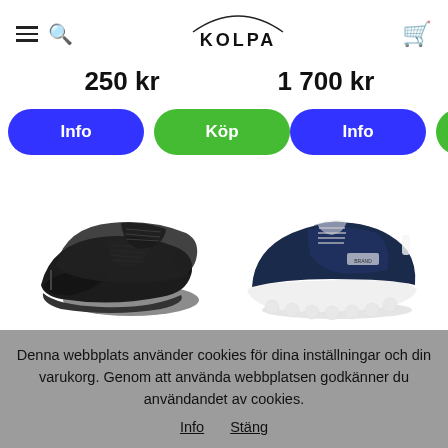KOLPA - navigation header with hamburger menu, search, logo, and cart
250 kr
1 700 kr
Info | Köp (left product)
Info | Köp (right product)
[Figure (photo): Black leather lace-up dress shoes, pair, photographed from the side on white background]
[Figure (photo): Navy blue sneakers/athletic shoes with white chunky sole, photographed from the side on white background]
Denna webbplats använder cookies för dina inställningar och din varukorg. Genom att använda webbplatsen godkänner du användandet av cookies.
Info  Stäng